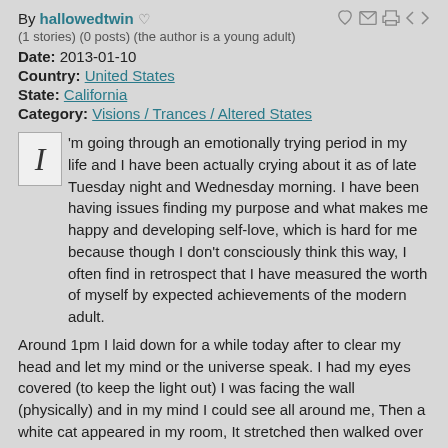By hallowedtwin ♡
(1 stories) (0 posts) (the author is a young adult)
Date: 2013-01-10
Country: United States
State: California
Category: Visions / Trances / Altered States
I 'm going through an emotionally trying period in my life and I have been actually crying about it as of late Tuesday night and Wednesday morning. I have been having issues finding my purpose and what makes me happy and developing self-love, which is hard for me because though I don't consciously think this way, I often find in retrospect that I have measured the worth of myself by expected achievements of the modern adult.
Around 1pm I laid down for a while today after to clear my head and let my mind or the universe speak. I had my eyes covered (to keep the light out) I was facing the wall (physically) and in my mind I could see all around me, Then a white cat appeared in my room, It stretched then walked over to me and placed its paw on the back of my head, I could feel the sensation inside of my head near occipital lobe as if the paw had entered my head, then the cat slowly faded away like white smoke, and my eyes sprang